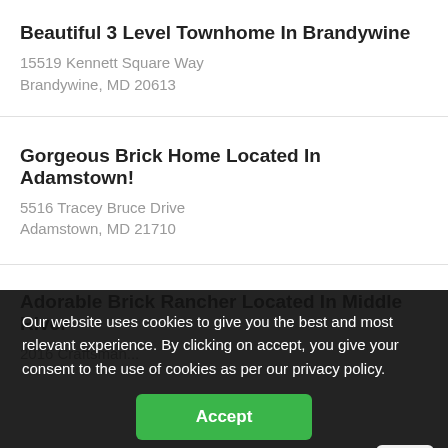Beautiful 3 Level Townhome In Brandywine
15519 Kennett Square Way
Brandywine, MD 20613
Gorgeous Brick Home Located In Adamstown!
5516 Tracey Bruce Drive
Adamstown, MD 21710
Adorable Brick Rancher Located In Middle River
Charming Home Loca... more
2702 C Preston Street
Our website uses cookies to give you the best and most relevant experience. By clicking on accept, you give your consent to the use of cookies as per our privacy policy.